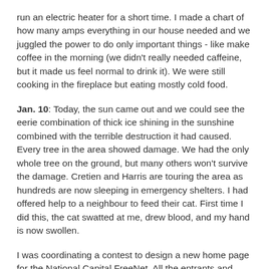run an electric heater for a short time. I made a chart of how many amps everything in our house needed and we juggled the power to do only important things - like make coffee in the morning (we didn't really needed caffeine, but it made us feel normal to drink it). We were still cooking in the fireplace but eating mostly cold food.
Jan. 10: Today, the sun came out and we could see the eerie combination of thick ice shining in the sunshine combined with the terrible destruction it had caused. Every tree in the area showed damage. We had the only whole tree on the ground, but many others won't survive the damage. Cretien and Harris are touring the area as hundreds are now sleeping in emergency shelters. I had offered help to a neighbour to feed their cat. First time I did this, the cat swatted at me, drew blood, and my hand is now swollen.
I was coordinating a contest to design a new home page for the National Capital FreeNet. All the entrants and judges were working online. As soon as I had a few minutes where we didn't need to run the pumps or freezer, I got online and tried to catch up on this work using a small laptop. The